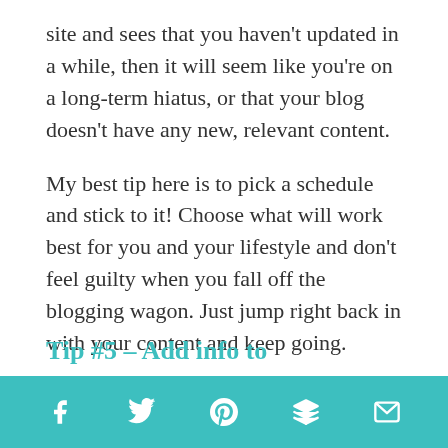site and sees that you haven't updated in a while, then it will seem like you're on a long-term hiatus, or that your blog doesn't have any new, relevant content.
My best tip here is to pick a schedule and stick to it! Choose what will work best for you and your lifestyle and don't feel guilty when you fall off the blogging wagon. Just jump right back in with your content and keep going.
Tip #5 – Add info to
Social share toolbar with Facebook, Twitter, Pinterest, Buffer, and Email icons